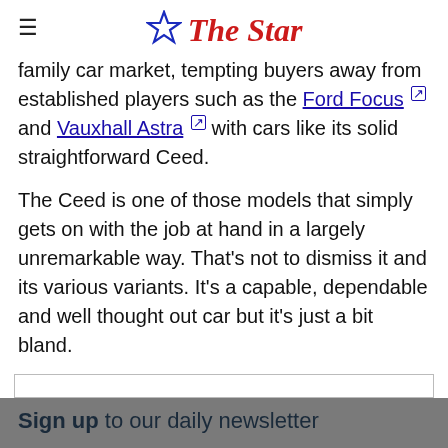The Star
family car market, tempting buyers away from established players such as the Ford Focus and Vauxhall Astra with cars like its solid straightforward Ceed.
The Ceed is one of those models that simply gets on with the job at hand in a largely unremarkable way. That’s not to dismiss it and its various variants. It’s a capable, dependable and well thought out car but it’s just a bit bland.
Sign up to our daily newsletter